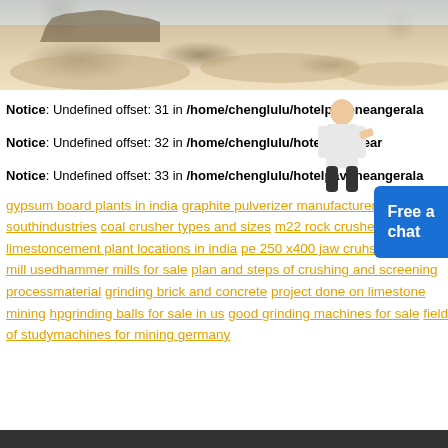[Figure (photo): Mining or quarry site with sandy/earthy terrain and industrial equipment silhouettes in background]
Notice: Undefined offset: 31 in /home/chenglulu/hotelpavoneangerala...
Notice: Undefined offset: 32 in /home/chenglulu/hotelpavonear...
Notice: Undefined offset: 33 in /home/chenglulu/hotelpavoneangerala...
gypsum board plants in india graphite pulverizer manufacturers for south... industries coal crusher types and sizes m22 rock crusher repair limeston... cement plant locations in india pe 250 x400 jaw cruhser pebble mill used... hammer mills for sale plan and steps of crushing and screening process... material grinding brick and concrete project done on limestone mining hp... grinding balls for sale in us good grinding machines for sale field of study... machines for mining germany
[Figure (photo): Person (woman) standing, partially visible, with Free chat button overlay]